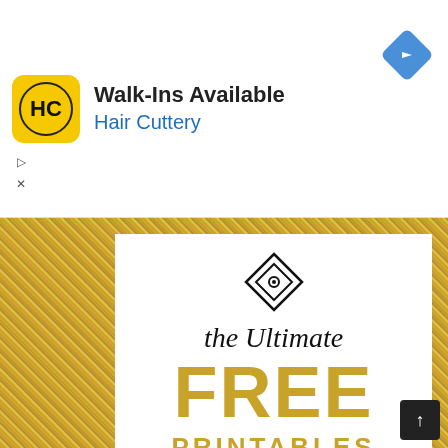[Figure (screenshot): Advertisement banner for Hair Cuttery with yellow HC logo, text 'Walk-Ins Available' and 'Hair Cuttery' in blue, and a blue navigation diamond icon on the right]
[Figure (infographic): Gold glitter bordered white card showing decorative diamond eye logo, script text 'the Ultimate', large gold serif text 'FREE', gold text 'PRINTABLES', and script text 'Resource']